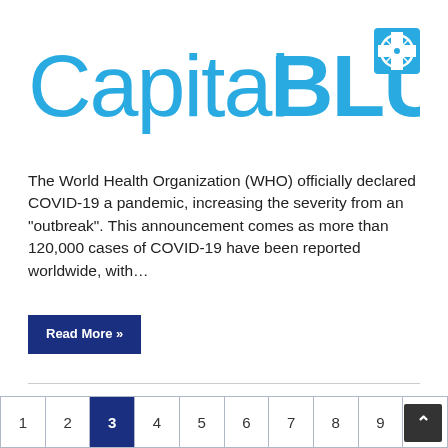[Figure (logo): Capital BlueCross logo with blue text 'Capital BLUE' and a blue cross/shield icon]
The World Health Organization (WHO) officially declared COVID-19 a pandemic, increasing the severity from an “outbreak”. This announcement comes as more than 120,000 cases of COVID-19 have been reported worldwide, with…
Read More »
1  2  3  4  5  6  7  8  9  10